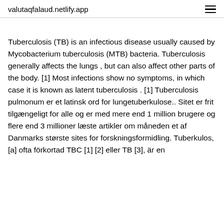valutaqfalaud.netlify.app
Tuberculosis (TB) is an infectious disease usually caused by Mycobacterium tuberculosis (MTB) bacteria. Tuberculosis generally affects the lungs , but can also affect other parts of the body. [1] Most infections show no symptoms, in which case it is known as latent tuberculosis . [1] Tuberculosis pulmonum er et latinsk ord for lungetuberkulose.. Sitet er frit tilgængeligt for alle og er med mere end 1 million brugere og flere end 3 millioner læste artikler om måneden et af Danmarks største sites for forskningsformidling. Tuberkulos, [a] ofta förkortad TBC [1] [2] eller TB [3], är en